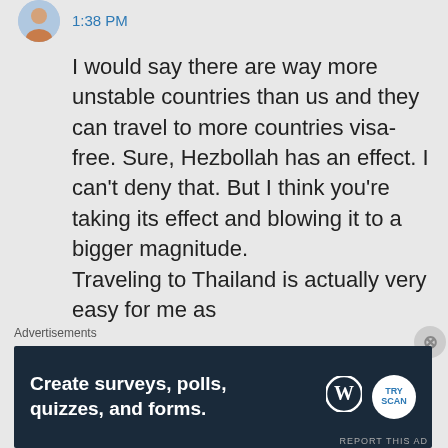1:38 PM
I would say there are way more unstable countries than us and they can travel to more countries visa-free. Sure, Hezbollah has an effect. I can't deny that. But I think you're taking its effect and blowing it to a bigger magnitude.
Traveling to Thailand is actually very easy for me as
Advertisements
[Figure (screenshot): Advertisement banner: Create surveys, polls, quizzes, and forms. WordPress and TryScan logos.]